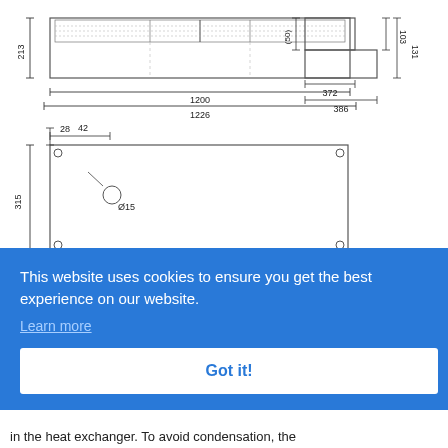[Figure (engineering-diagram): Technical drawing of an air curtain/fan coil unit. Top view shows front elevation with dimensions: height 213mm, width 1200mm (inner), 1226mm (outer). Side view shows depth 50mm, widths 372mm and 386mm, heights 103mm and 131mm. Bottom view shows mounting plate with hole diameter 15mm, offset 42mm from edge, 28mm from top, unit height 315mm.]
This website uses cookies to ensure you get the best experience on our website.
Learn more
Got it!
-4°C
in the heat exchanger. To avoid condensation, the